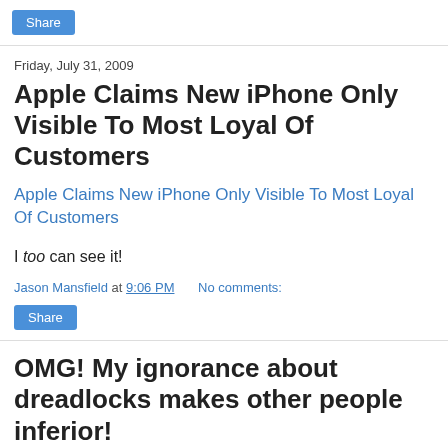[Figure (other): Share button at top of page]
Friday, July 31, 2009
Apple Claims New iPhone Only Visible To Most Loyal Of Customers
Apple Claims New iPhone Only Visible To Most Loyal Of Customers
I too can see it!
Jason Mansfield at 9:06 PM   No comments:
[Figure (other): Share button]
OMG! My ignorance about dreadlocks makes other people inferior!